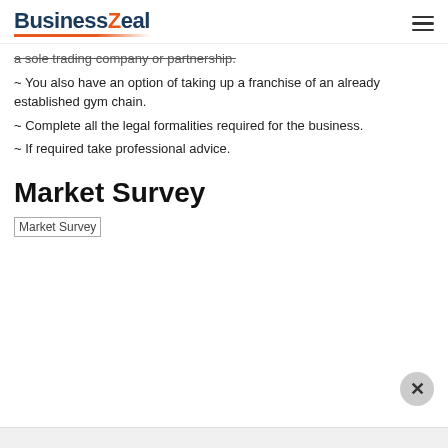BusinessZeal
a sole trading company or partnership.
~ You also have an option of taking up a franchise of an already established gym chain.
~ Complete all the legal formalities required for the business.
~ If required take professional advice.
Market Survey
[Figure (photo): Market Survey image placeholder (broken image link)]